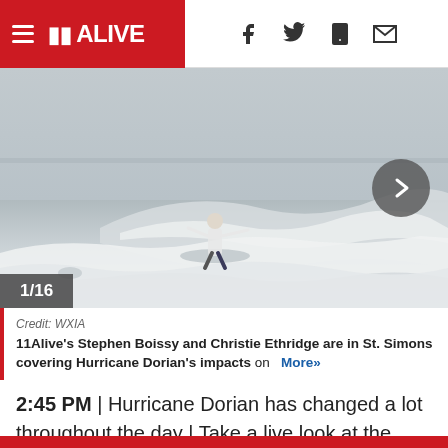11 ALIVE — navigation header with hamburger menu and social icons (Facebook, Twitter, mobile, email)
[Figure (photo): Person surfing large waves during Hurricane Dorian conditions at St. Simons Island. Rough choppy grey ocean water with white foam. Navigation arrow button on right side. Counter badge showing 1/16 in bottom left.]
Credit: WXIA
11Alive's Stephen Boissy and Christie Ethridge are in St. Simons covering Hurricane Dorian's impacts on   More»
2:45 PM | Hurricane Dorian has changed a lot throughout the day | Take a live look at the coast and get the latest update from our crew at St. Simons Island.